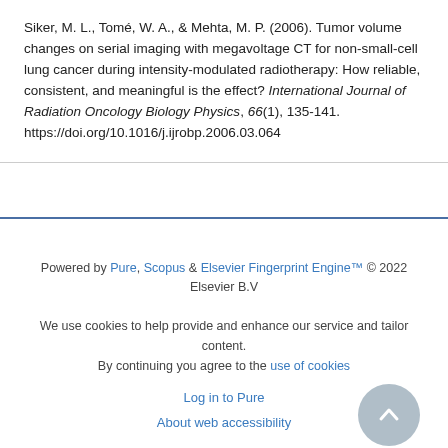Siker, M. L., Tomé, W. A., & Mehta, M. P. (2006). Tumor volume changes on serial imaging with megavoltage CT for non-small-cell lung cancer during intensity-modulated radiotherapy: How reliable, consistent, and meaningful is the effect? International Journal of Radiation Oncology Biology Physics, 66(1), 135-141. https://doi.org/10.1016/j.ijrobp.2006.03.064
Powered by Pure, Scopus & Elsevier Fingerprint Engine™ © 2022 Elsevier B.V
We use cookies to help provide and enhance our service and tailor content. By continuing you agree to the use of cookies
Log in to Pure
About web accessibility